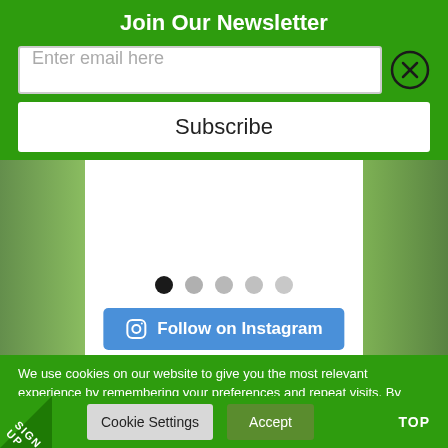Join Our Newsletter
Enter email here
Subscribe
[Figure (screenshot): Carousel dots navigation with 5 dots, first dot dark, rest gray]
Follow on Instagram
We use cookies on our website to give you the most relevant experience by remembering your preferences and repeat visits. By clicking “Accept”, you consent to the use of ALL the cookies.
Do not sell my personal information.
Cookie Settings
Accept
TOP
SIGN UP